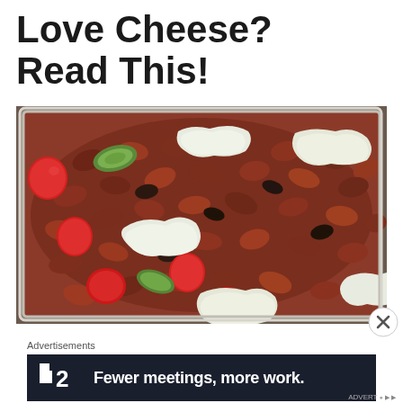Love Cheese? Read This!
[Figure (photo): A clear plastic container filled with a bean salad: kidney beans, black beans, cherry tomatoes, cucumber slices, topped with dollops of white herb cheese or cream cheese.]
[Figure (other): Close (X) button circle icon]
Advertisements
[Figure (other): Advertisement banner: dark navy background with a logo showing two small squares and number 2, and text reading 'Fewer meetings, more work.']